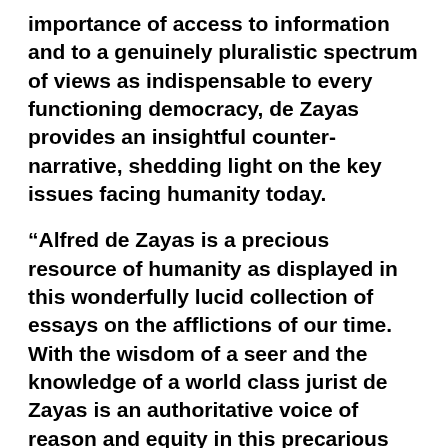importance of access to information and to a genuinely pluralistic spectrum of views as indispensable to every functioning democracy, de Zayas provides an insightful counter-narrative, shedding light on the key issues facing humanity today.
“Alfred de Zayas is a precious resource of humanity as displayed in this wonderfully lucid collection of essays on the afflictions of our time. With the wisdom of a seer and the knowledge of a world class jurist de Zayas is an authoritative voice of reason and equity in this precarious period of dangerous warmongering untruths. Don’t weep, read and then act.”